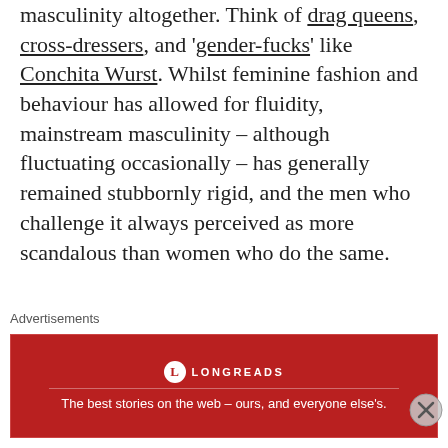masculinity altogether. Think of drag queens, cross-dressers, and 'gender-fucks' like Conchita Wurst. Whilst feminine fashion and behaviour has allowed for fluidity, mainstream masculinity – although fluctuating occasionally – has generally remained stubbornly rigid, and the men who challenge it always perceived as more scandalous than women who do the same.
[Figure (photo): Broken image placeholder for Conchita Wurst redefining masculinity]
Conchita Wurst redefining masculinity
Advertisements
[Figure (other): Longreads advertisement banner: The best stories on the web – ours, and everyone else's.]